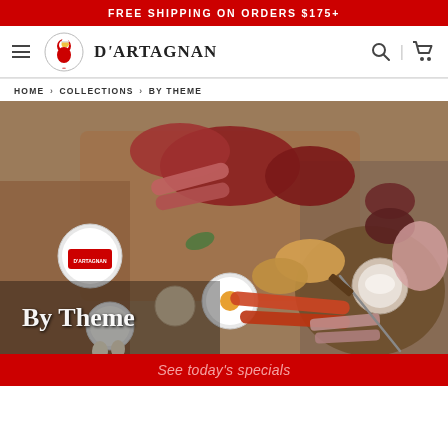FREE SHIPPING ON ORDERS $175+
[Figure (logo): D'Artagnan logo with chef duck mascot in circular emblem and brand name text]
HOME > COLLECTIONS > BY THEME
[Figure (photo): Overhead photo of various meats, charcuterie, sausages, croissants, and D'Artagnan branded products on wooden boards with text overlay 'By Theme']
See today's specials